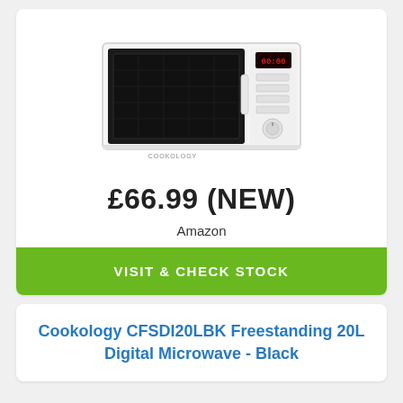[Figure (photo): White Cookology microwave oven with black door and digital display on the right side with a dial knob]
£66.99 (NEW)
Amazon
VISIT & CHECK STOCK
Cookology CFSDI20LBK Freestanding 20L Digital Microwave - Black